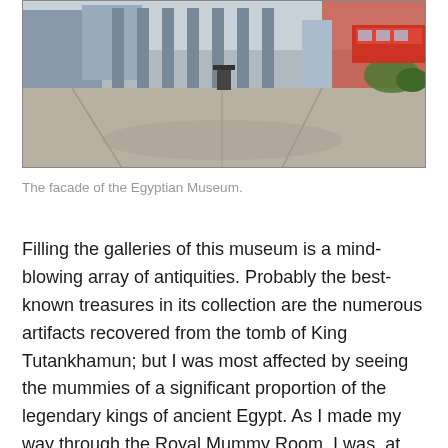[Figure (photo): Exterior photograph of the Egyptian Museum facade showing a paved plaza/courtyard area with architectural columns and surrounding buildings visible in the background.]
The facade of the Egyptian Museum.
Filling the galleries of this museum is a mind-blowing array of antiquities. Probably the best-known treasures in its collection are the numerous artifacts recovered from the tomb of King Tutankhamun; but I was most affected by seeing the mummies of a significant proportion of the legendary kings of ancient Egypt. As I made my way through the Royal Mummy Room, I was, at various times, standing just a few inches away from folks like Ramses II, who ruled the country for over 66 years; and Hatshepsut, the longest-reigning female pharaoh. It's very humbling to see people who were once masters of the universe but have now been in the afterlife for thousands of years